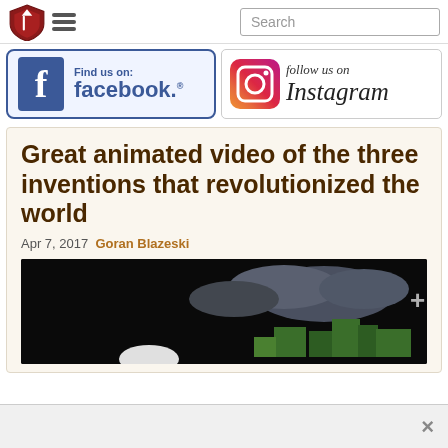[Navigation bar with shield logo, hamburger menu, and Search field]
[Figure (logo): Facebook Find us on: facebook. banner with blue F icon and styled text]
[Figure (logo): Instagram follow us on Instagram banner with camera icon and italic script text]
Great animated video of the three inventions that revolutionized the world
Apr 7, 2017  Goran Blazeski
[Figure (screenshot): Dark animated video thumbnail showing stylized nighttime scene with dark blue/grey clouds and green terrain on black background with a + icon overlay]